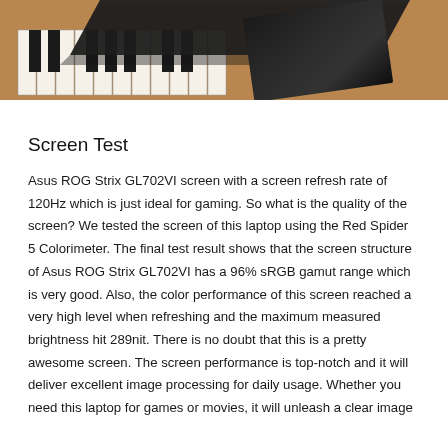[Figure (photo): Photo of a laptop (dark/black) placed on top of a wooden piano keyboard, showing piano keys and the dark laptop lid from above at an angle.]
Screen Test
Asus ROG Strix GL702VI screen with a screen refresh rate of 120Hz which is just ideal for gaming. So what is the quality of the screen? We tested the screen of this laptop using the Red Spider 5 Colorimeter. The final test result shows that the screen structure of Asus ROG Strix GL702VI has a 96% sRGB gamut range which is very good. Also, the color performance of this screen reached a very high level when refreshing and the maximum measured brightness hit 289nit. There is no doubt that this is a pretty awesome screen. The screen performance is top-notch and it will deliver excellent image processing for daily usage. Whether you need this laptop for games or movies, it will unleash a clear image